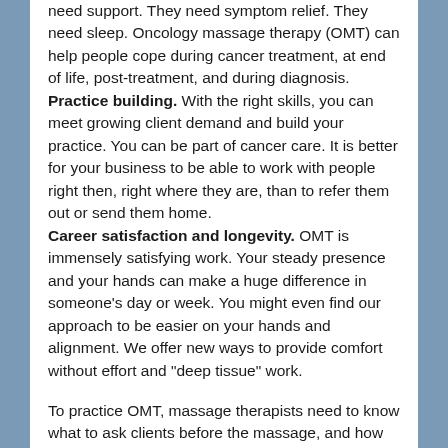need support. They need symptom relief. They need sleep. Oncology massage therapy (OMT) can help people cope during cancer treatment, at end of life, post-treatment, and during diagnosis. Practice building. With the right skills, you can meet growing client demand and build your practice. You can be part of cancer care. It is better for your business to be able to work with people right then, right where they are, than to refer them out or send them home. Career satisfaction and longevity. OMT is immensely satisfying work. Your steady presence and your hands can make a huge difference in someone's day or week. You might even find our approach to be easier on your hands and alignment. We offer new ways to provide comfort without effort and "deep tissue" work.
To practice OMT, massage therapists need to know what to ask clients before the massage, and how to use the client's answers. They need to know how to think through what to do, and how to communicate with